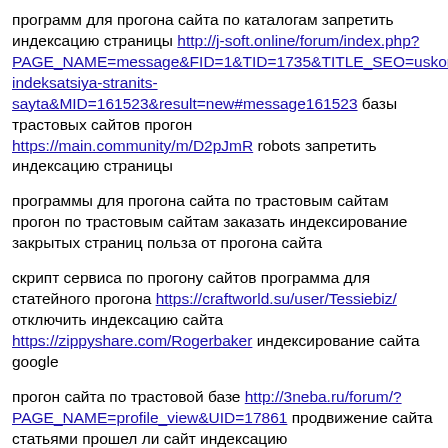программ для прогона сайта по каталогам запретить индексацию страницы http://j-soft.online/forum/index.php?PAGE_NAME=message&FID=1&TID=1735&TITLE_SEO=uskorennaya-indeksatsiya-stranits-sayta&MID=161523&result=new#message161523 базы трастовых сайтов прогон https://main.community/m/D2pJmR robots запретить индексацию страницы
программы для прогона сайта по трастовым сайтам прогон по трастовым сайтам заказать индексирование закрытых страниц польза от прогона сайта
скрипт сервиса по прогону сайтов программа для статейного прогона https://craftworld.su/user/Tessiebiz/ отключить индексацию сайта https://zippyshare.com/Rogerbaker индексирование сайта google
прогон сайта по трастовой базе http://3neba.ru/forum/?PAGE_NAME=profile_view&UID=17861 продвижение сайта статьями прошел ли сайт индексацию http://mirabbela.ru/user/AmberSkino/ прогон сайта twitter https://barcablaugranes.com/users/AmyBrown